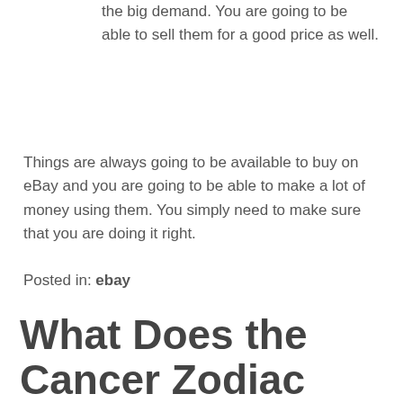the big demand. You are going to be able to sell them for a good price as well.
Things are always going to be available to buy on eBay and you are going to be able to make a lot of money using them. You simply need to make sure that you are doing it right.
Posted in: ebay
What Does the Cancer Zodiac Sign Mean?
Posted by Al on July 15, 2014 — Leave a Comment